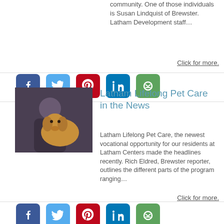community.  One of those individuals is Susan Lindquist of Brewster. Latham Development staff…
Click for more.
[Figure (infographic): Social media share icons: Facebook, Twitter, Pinterest, LinkedIn, Email]
[Figure (photo): Person hugging a golden retriever dog indoors]
Latham Lifelong Pet Care in the News
Latham Lifelong Pet Care, the newest vocational opportunity for our residents at Latham Centers made the headlines recently. Rich Eldred, Brewster reporter, outlines the different parts of the program ranging…
Click for more.
[Figure (infographic): Social media share icons: Facebook, Twitter, Pinterest, LinkedIn, Email]
[Figure (photo): Dog photo with ARL's Paws event flyer/program overlay]
Latham Lifelong Pet Care at Paws in the Park!